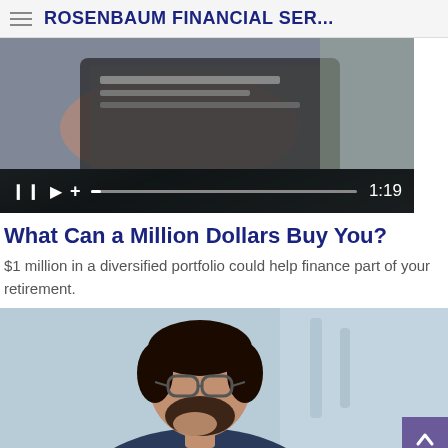ROSENBAUM FINANCIAL SER...
[Figure (screenshot): Video player showing a person holding a laptop/tablet, with playback controls showing pause, play, plus buttons, a progress bar, and timestamp 1:19]
What Can a Million Dollars Buy You?
$1 million in a diversified portfolio could help finance part of your retirement.
[Figure (photo): Professional man with glasses and beard wearing a suit, pensively looking at a laptop in an office setting]